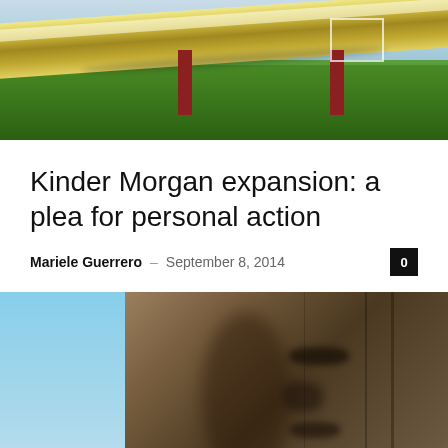[Figure (photo): Pipeline running through green forested landscape, supported on red metal struts]
Kinder Morgan expansion: a plea for personal action
Mariele Guerrero – September 8, 2014   0
[Figure (photo): Close-up of a wooden totem pole face carving against a blue sky]
Mistreated Native women: the government must take action